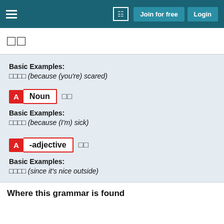Join for free   Login
□□
Basic Examples:
□□□□ (because (you're) scared)
A Noun □□
Basic Examples:
□□□□ (because (I'm) sick)
A -adjective □□
Basic Examples:
□□□□ (since it's nice outside)
Where this grammar is found